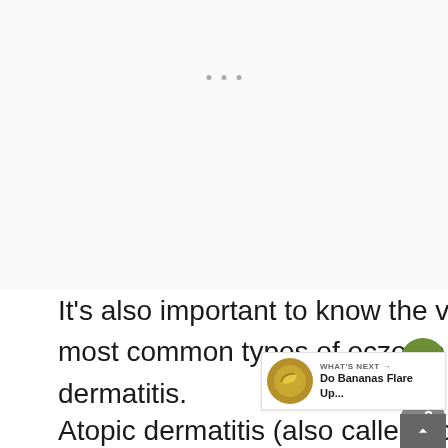It's also important to know the various types of eczema. The two most common types of eczema are atopic dermatitis and contact dermatitis.
Atopic dermatitis (also called eczema atopic...